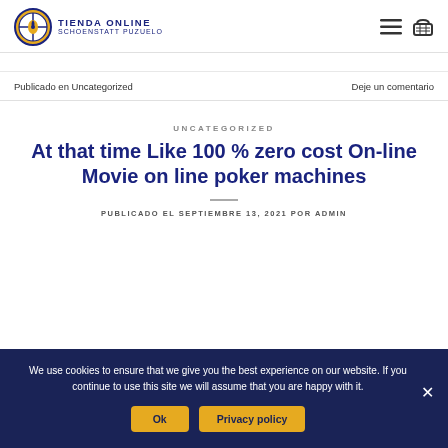TIENDA ONLINE SCHOENSTATT PUZUELO
Publicado en Uncategorized   Deje un comentario
UNCATEGORIZED
At that time Like 100 % zero cost On-line Movie on line poker machines
PUBLICADO EL SEPTIEMBRE 13, 2021 POR ADMIN
We use cookies to ensure that we give you the best experience on our website. If you continue to use this site we will assume that you are happy with it.